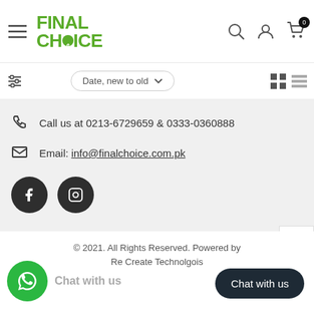Final Choice - navigation header with logo, search, user, and cart icons
Date, new to old
Call us at 0213-6729659 & 0333-0360888
Email: info@finalchoice.com.pk
[Figure (screenshot): Social media icons: Facebook and Instagram dark circular buttons]
© 2021. All Rights Reserved. Powered by Re Create Technolgois
Chat with us